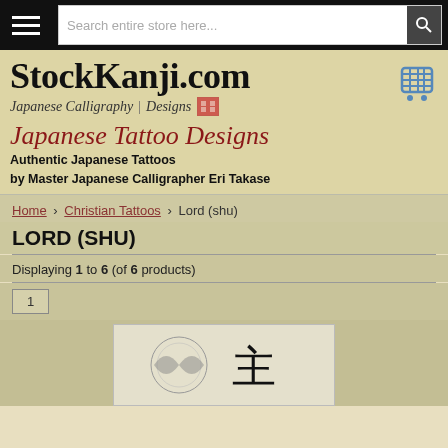Search entire store here...
StockKanji.com
Japanese Calligraphy | Designs
Japanese Tattoo Designs
Authentic Japanese Tattoos
by Master Japanese Calligrapher Eri Takase
Home > Christian Tattoos > Lord (shu)
LORD (SHU)
Displaying 1 to 6 (of 6 products)
1
[Figure (photo): Kanji/Japanese calligraphy product thumbnail showing a character design for Lord (shu)]